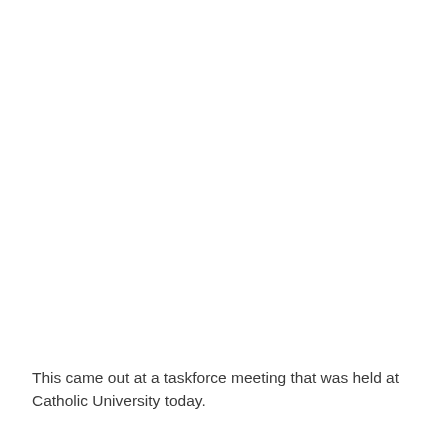This came out at a taskforce meeting that was held at Catholic University today.